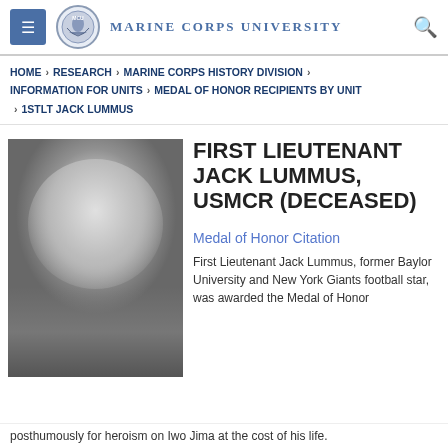Marine Corps University
HOME > RESEARCH > MARINE CORPS HISTORY DIVISION > INFORMATION FOR UNITS > MEDAL OF HONOR RECIPIENTS BY UNIT > 1STLT JACK LUMMUS
FIRST LIEUTENANT JACK LUMMUS, USMCR (DECEASED)
[Figure (photo): Black and white portrait photograph of First Lieutenant Jack Lummus in Marine Corps uniform]
Medal of Honor Citation
First Lieutenant Jack Lummus, former Baylor University and New York Giants football star, was awarded the Medal of Honor posthumously for heroism on Iwo Jima at the cost of his life.